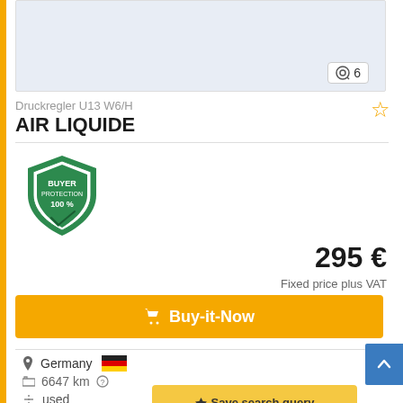[Figure (photo): Product image area with light blue background, showing top portion of item listing. A zoom/image count indicator shows '6' images.]
Druckregler U13 W6/H
AIR LIQUIDE
[Figure (logo): Buyer Protection 100% shield badge in green and white]
295 €
Fixed price plus VAT
Buy-it-Now
Germany
6647 km
used
Save search query